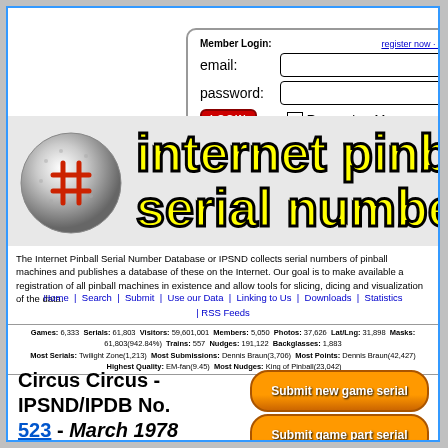[Figure (screenshot): Member login form with email, password fields, login button, and remember me checkbox]
[Figure (logo): Internet Pinball Serial Number Database banner with silver pinball and yellow text on gray background]
The Internet Pinball Serial Number Database or IPSND collects serial numbers of pinball machines and publishes a database of these on the Internet. Our goal is to make available a registration of all pinball machines in existence and allow tools for slicing, dicing and visualization of the data.
Home | Search | Submit | Use our Data | Linking to Us | Downloads | Statistics | RSS Feeds
Frequently Asked Questions | Support the IPSND | About the IPSND
Games: 6,333 Serials: 61,803 Visitors: 59,601,001 Members: 5,050 Photos: 37,626 Lat/Lng: 31,898 Masks: 61,803(942.84%) Trains: 557 Nudges: 191,122 Backglasses: 1,883
Most Serials: Twilight Zone(1,213) Most Submissions: Dennis Braun(3,706) Most Points: Dennis Braun(42,427) Highest Quality: EM-fan(9.45) Most Nudges: King of Pinball(23,042)
Circus Circus - IPSND/IPDB No. 523 - March 1978
[Figure (screenshot): Submit new game serial button (orange rounded)]
[Figure (screenshot): Submit game part serial button (orange rounded)]
View this game at other Pin Sites